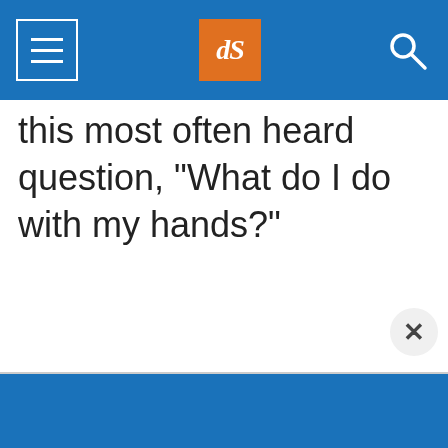dPS navigation header with menu, logo, and search
this most often heard question, “What do I do with my hands?”